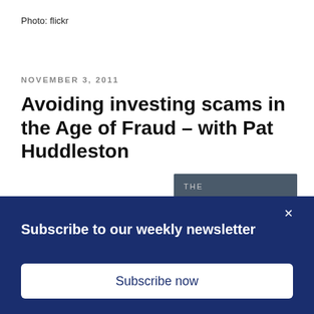Photo: flickr
NOVEMBER 3, 2011
Avoiding investing scams in the Age of Fraud – with Pat Huddleston
[Figure (illustration): Book cover for 'The Vigilant Investor: A Former SEC Enforcer Reveals How to Fraud-Proof Your Investments' with gold egg on grey background]
Subscribe to our weekly newsletter
Subscribe now